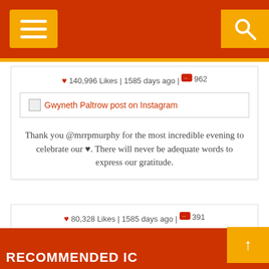[Figure (screenshot): Top navigation bar with orange/red background, hamburger menu button on left and search icon on right]
❤ 140,996 Likes | 1585 days ago | 💬 962
[Figure (screenshot): Image placeholder: Gwyneth Paltrow post on Instagram]
Thank you @mrrpmurphy for the most incredible evening to celebrate our ♥. There will never be adequate words to express our gratitude.
❤ 80,328 Likes | 1585 days ago | 💬 391
[Figure (screenshot): Image placeholder: Gwyneth Paltrow post on Instagram]
The morning after #thenomadla
RECOMMENDED IC